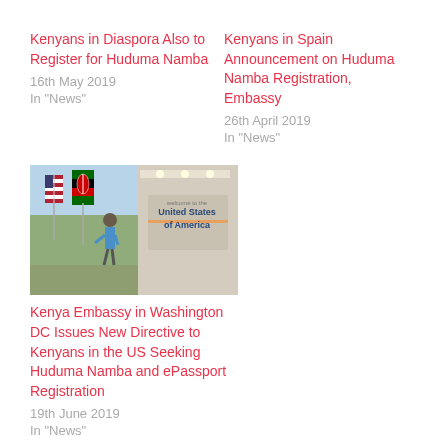Kenyans in Diaspora Also to Register for Huduma Namba
16th May 2019
In "News"
Kenyans in Spain Announcement on Huduma Namba Registration, Embassy
26th April 2019
In "News"
[Figure (photo): Photo of flags including US and Kenyan flags with a sign reading 'United States of America']
Kenya Embassy in Washington DC Issues New Directive to Kenyans in the US Seeking Huduma Namba and ePassport Registration
19th June 2019
In "News"